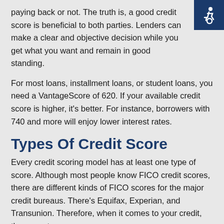paying back or not. The truth is, a good credit score is beneficial to both parties. Lenders can make a clear and objective decision while you get what you want and remain in good standing.
For most loans, installment loans, or student loans, you need a VantageScore of 620. If your available credit score is higher, it's better. For instance, borrowers with 740 and more will enjoy lower interest rates.
Types Of Credit Score
Every credit scoring model has at least one type of score. Although most people know FICO credit scores, there are different kinds of FICO scores for the major credit bureaus. There's Equifax, Experian, and Transunion. Therefore, when it comes to your credit, the score type or